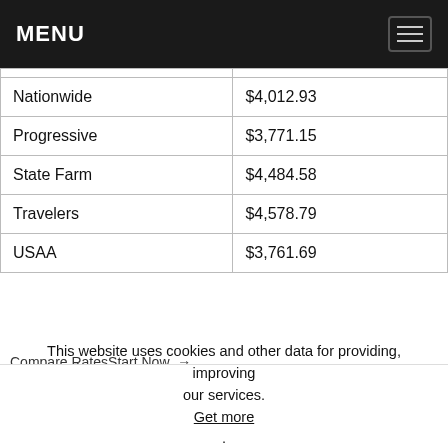MENU
|  |  |
| --- | --- |
| [partial row] |  |
| Nationwide | $4,012.93 |
| Progressive | $3,771.15 |
| State Farm | $4,484.58 |
| Travelers | $4,578.79 |
| USAA | $3,761.69 |
Compare RatesStart Now →
If your definition of “best” relates to the cheapest price, Geico has the cheapest annual price for insurance in New York.
Commute Rates by Companies
| Company | 10 Mile Commute | 25 Mile Commute |
| --- | --- | --- |
This website uses cookies and other data for providing, improving our services. Get more. Got it